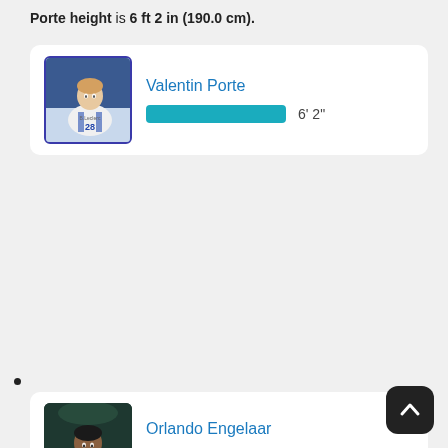Porte height is 6 ft 2 in (190.0 cm).
[Figure (photo): Photo of Valentin Porte wearing white handball jersey number 28]
Valentin Porte
6' 2"
[Figure (photo): Photo of Orlando Engelaar in dark jersey]
Orlando Engelaar
6' 5"
[Figure (photo): Photo of Paulo Orlando wearing cap]
Paulo Orlando
6' 2"